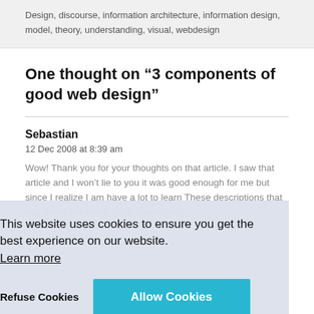Design, discourse, information architecture, information design, model, theory, understanding, visual, webdesign
One thought on “3 components of good web design”
Sebastian
12 Dec 2008 at 8:39 am
Wow! Thank you for your thoughts on that article. I saw that article and I won’t lie to you it was good enough for me but since I realize I am have a lot to learn These descriptions that you made are really solid. Thank you!
This website uses cookies to ensure you get the best experience on our website.
Learn more
Refuse Cookies
Allow Cookies
Leave a Reply